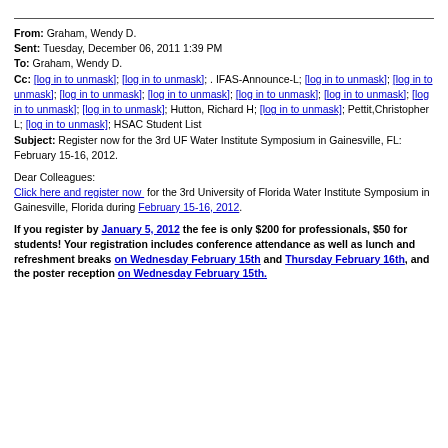From: Graham, Wendy D.
Sent: Tuesday, December 06, 2011 1:39 PM
To: Graham, Wendy D.
Cc: [log in to unmask]; [log in to unmask]; . IFAS-Announce-L; [log in to unmask]; [log in to unmask]; [log in to unmask]; [log in to unmask]; [log in to unmask]; [log in to unmask]; [log in to unmask]; [log in to unmask]; Hutton, Richard H; [log in to unmask]; Pettit,Christopher L; [log in to unmask]; HSAC Student List
Subject: Register now for the 3rd UF Water Institute Symposium in Gainesville, FL: February 15-16, 2012.
Dear Colleagues:
Click here and register now for the 3rd University of Florida Water Institute Symposium in Gainesville, Florida during February 15-16, 2012.
If you register by January 5, 2012 the fee is only $200 for professionals, $50 for students! Your registration includes conference attendance as well as lunch and refreshment breaks on Wednesday February 15th and Thursday February 16th, and the poster reception on Wednesday February 15th.